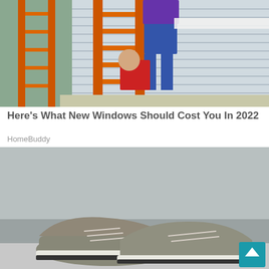[Figure (photo): Photo of people on an orange ladder doing construction/window work on a house with blue siding]
Here's What New Windows Should Cost You In 2022
HomeBuddy
[Figure (photo): Photo of a pair of gray knit casual shoes/sneakers on a light surface against a gray background]